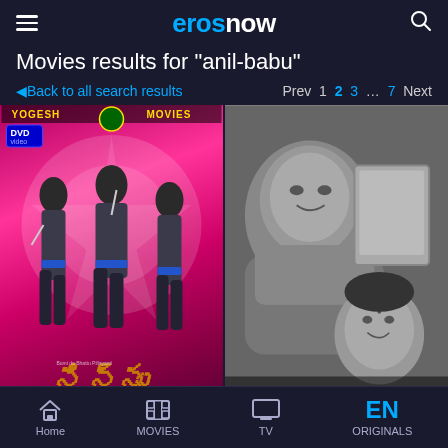eros now
Movies results for "anil-babu"
Back to all search results   Prev 1 2 3 … 7 Next
[Figure (photo): Movie poster for Yogesh Movies DVD with three action figures on a pink/magenta background]
[Figure (photo): Black and white movie still showing a man and woman, with an orange-colored title text at bottom]
Home   MOVIES   TV   ORIGINALS